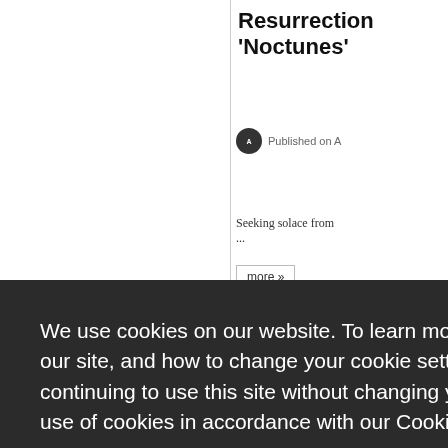Resurrection 'Noctunes'
Published on A
Seeking solace from ...
more »
Caught U
blished on A
eone who da dge on the...
more »
We use cookies on our website. To learn more about cookies, how we use them on our site, and how to change your cookie settings please see our Cookie Policy. By continuing to use this site without changing your browser settings you consent to our use of cookies in accordance with our Cookie Policy. Learn more
Got it!